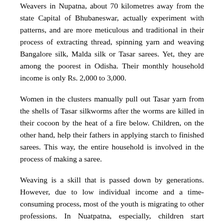Weavers in Nupatna, about 70 kilometres away from the state Capital of Bhubaneswar, actually experiment with patterns, and are more meticulous and traditional in their process of extracting thread, spinning yarn and weaving Bangalore silk, Malda silk or Tasar sarees. Yet, they are among the poorest in Odisha. Their monthly household income is only Rs. 2,000 to 3,000.
Women in the clusters manually pull out Tasar yarn from the shells of Tasar silkworms after the worms are killed in their cocoon by the heat of a fire below. Children, on the other hand, help their fathers in applying starch to finished sarees. This way, the entire household is involved in the process of making a saree.
Weaving is a skill that is passed down by generations. However, due to low individual income and a time-consuming process, most of the youth is migrating to other professions. In Nuatpatna, especially, children start learning the skill of weaving from a very young age. According to master weavers